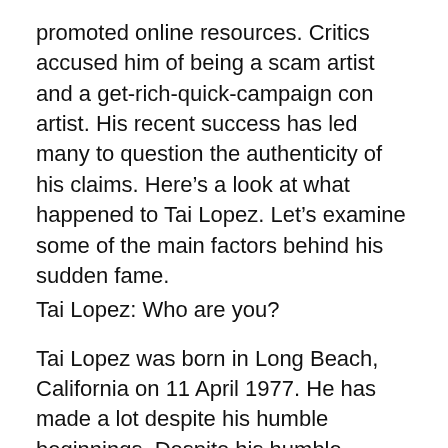promoted online resources. Critics accused him of being a scam artist and a get-rich-quick-campaign con artist. His recent success has led many to question the authenticity of his claims. Here's a look at what happened to Tai Lopez. Let's examine some of the main factors behind his sudden fame.
Tai Lopez: Who are you?
Tai Lopez was born in Long Beach, California on 11 April 1977. He has made a lot despite his humble beginnings. Despite his humble upbringing, Tai was an avid reader, selling lemonade and tomatoes at a young age. He started his own business selling cherry tomato products at the age of six. Since then, Tai has become one of Hollywood's